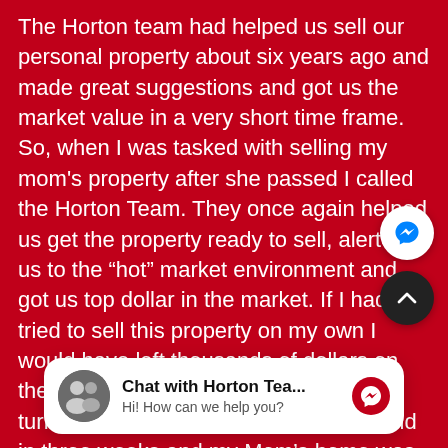The Horton team had helped us sell our personal property about six years ago and made great suggestions and got us the market value in a very short time frame. So, when I was tasked with selling my mom's property after she passed I called the Horton Team. They once again helped us get the property ready to sell, alerted us to the "hot" market environment and got us top dollar in the market. If I had tried to sell this property on my own I would have left thousands of dollars on the table. This sale was in a very quick turnaround time. My prior home was sold in three weeks and my Mom's home was sold in about five weeks. Thanks John and [K...] do.
[Figure (screenshot): Facebook Messenger floating action button (white circle with blue messenger lightning bolt icon)]
[Figure (screenshot): Scroll-to-top floating action button (dark circle with white chevron up arrow)]
[Figure (screenshot): Chat widget at bottom of screen showing two people avatar, text 'Chat with Horton Tea...' and 'Hi! How can we help you?' with a red messenger icon]